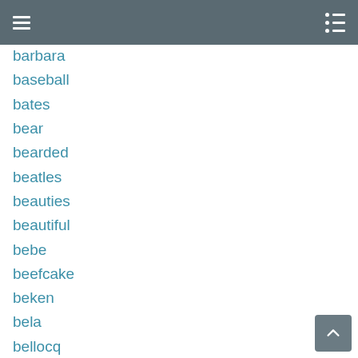barbara
barbara
baseball
bates
bear
bearded
beatles
beauties
beautiful
bebe
beefcake
beken
bela
bellocq
berenice
berlin
bernd
bert
best
bette
bettie
betty